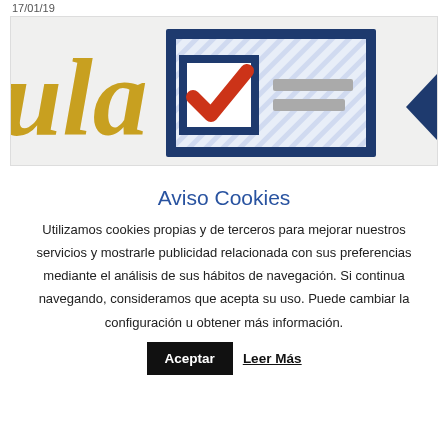17/01/19
[Figure (illustration): Partial view of a webpage with golden italic text on the left side ('la' visible), a dark blue checkbox/form graphic in the center with a red checkmark, and grey placeholder text lines beside it. A dark blue triangle shape is visible at the right edge.]
Aviso Cookies
Utilizamos cookies propias y de terceros para mejorar nuestros servicios y mostrarle publicidad relacionada con sus preferencias mediante el análisis de sus hábitos de navegación. Si continua navegando, consideramos que acepta su uso. Puede cambiar la configuración u obtener más información.
Aceptar
Leer Más